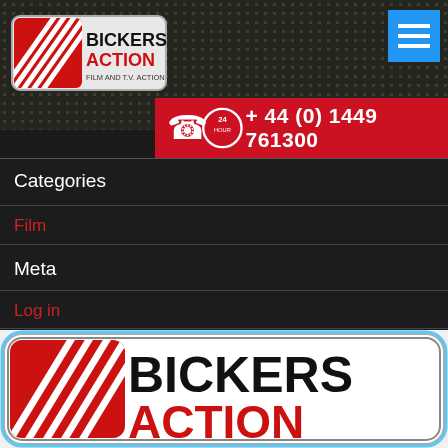[Figure (logo): Bickers Action Film and T.V. Action logo - white shield shape with red diagonal lines and black text]
[Figure (other): Blue hamburger menu icon button in top right corner]
[Figure (other): Red banner with telephone and 24-hour icons and phone number +44 (0) 1449 761300]
Categories
Film
Meta
Log in
Entries feed
Comments feed
WordPress.org
[Figure (logo): Bickers Action logo large at bottom - white background with red diagonal lines and large black and red text BICKERS ACTION]